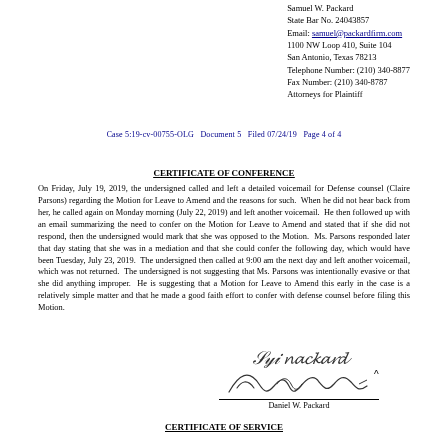Samuel W. Packard
State Bar No. 24043857
Email: samuel@packardfirm.com
1100 NW Loop 410, Suite 104
San Antonio, Texas 78213
Telephone Number: (210) 340-8877
Fax Number: (210) 340-8787
Attorneys for Plaintiff
Case 5:19-cv-00755-OLG   Document 5   Filed 07/24/19   Page 4 of 4
CERTIFICATE OF CONFERENCE
On Friday, July 19, 2019, the undersigned called and left a detailed voicemail for Defense counsel (Claire Parsons) regarding the Motion for Leave to Amend and the reasons for such. When he did not hear back from her, he called again on Monday morning (July 22, 2019) and left another voicemail. He then followed up with an email summarizing the need to confer on the Motion for Leave to Amend and stated that if she did not respond, then the undersigned would mark that she was opposed to the Motion. Ms. Parsons responded later that day stating that she was in a mediation and that she could confer the following day, which would have been Tuesday, July 23, 2019. The undersigned then called at 9:00 am the next day and left another voicemail, which was not returned. The undersigned is not suggesting that Ms. Parsons was intentionally evasive or that she did anything improper. He is suggesting that a Motion for Leave to Amend this early in the case is a relatively simple matter and that he made a good faith effort to confer with defense counsel before filing this Motion.
[Figure (illustration): Handwritten signature of Daniel W. Packard above a signature line]
Daniel W. Packard
CERTIFICATE OF SERVICE